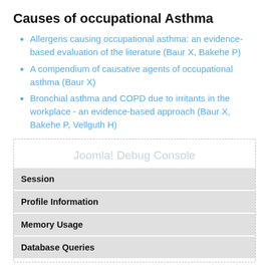Causes of occupational Asthma
Allergens causing occupational asthma: an evidence-based evaluation of the literature (Baur X, Bakehe P)
A compendium of causative agents of occupational asthma (Baur X)
Bronchial asthma and COPD due to irritants in the workplace - an evidence-based approach (Baur X, Bakehe P, Vellguth H)
[Figure (screenshot): Joomla! Debug Console panel showing a dashed-border box with a faint title 'Joomla! Debug Console' and a table listing: Session, Profile Information, Memory Usage, Database Queries]
| Session |
| Profile Information |
| Memory Usage |
| Database Queries |